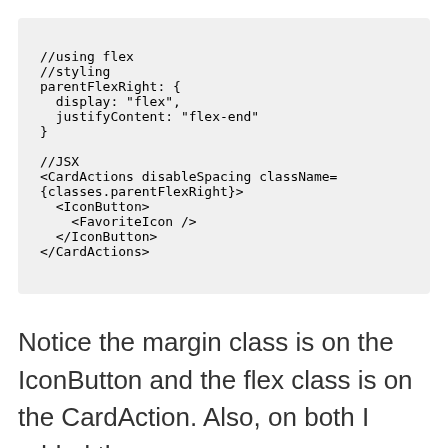[Figure (screenshot): Code block on gray background showing JavaScript/JSX code with flex styling and CardActions component]
Notice the margin class is on the IconButton and the flex class is on the CardAction. Also, on both I added the